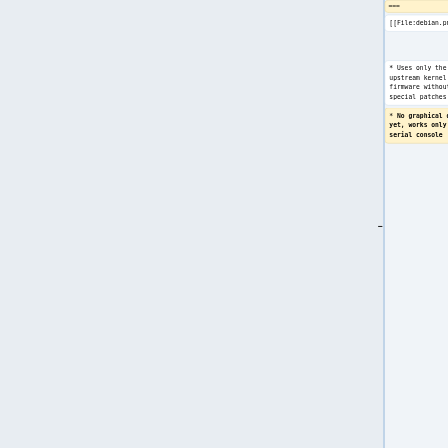===
[[File:debian.png|right|100px]]
[[File:debian.png|right|100px]]
* Uses only the upstream kernel and firmware without special patches
* Uses only the upstream kernel and firmware without special patches
* No graphical display yet, works only through serial console
* Display doesn't always work properly on first boot of installer, usually